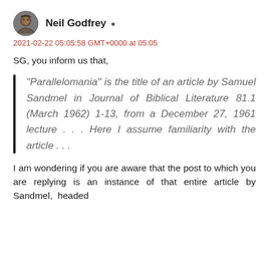Neil Godfrey
2021-02-22 05:05:58 GMT+0000 at 05:05
SG, you inform us that,
“Parallelomania” is the title of an article by Samuel Sandmel in Journal of Biblical Literature 81.1 (March 1962) 1-13, from a December 27, 1961 lecture . . . Here I assume familiarity with the article . . .
I am wondering if you are aware that the post to which you are replying is an instance of that entire article by Sandmel, headed “Parallelomania” that he is presenting but